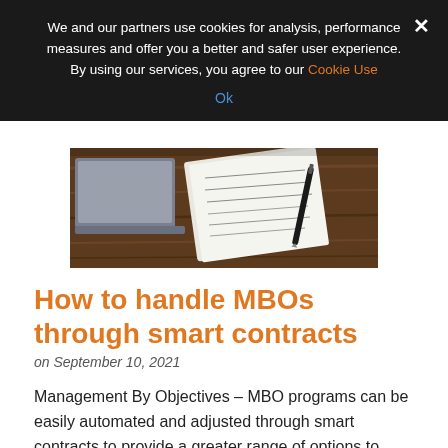We and our partners use cookies for analysis, performance measures and offer you a better and safer user experience. By using our services, you agree to our Cookie Use
Ok
[Figure (photo): A photo showing a laptop, open notebook with handwritten notes, and a pen on a wooden desk surface.]
How to handle MBOs through smart contracts
on September 10, 2021
Management By Objectives – MBO programs can be easily automated and adjusted through smart contracts to provide a greater range of options to both the HR admin and the employees